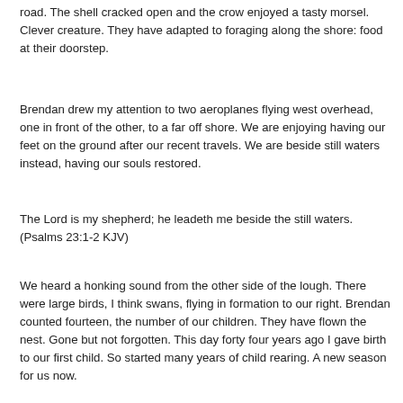road.  The shell cracked open and the crow enjoyed a tasty morsel.  Clever creature.  They have adapted to foraging along the shore: food at their doorstep.
Brendan drew my attention to two aeroplanes flying west overhead, one in front of the other, to a far off shore.  We are enjoying having our feet on the ground after our recent travels.  We are beside still waters instead, having our souls restored.
The Lord is my shepherd;  he leadeth me beside the still waters. (Psalms 23:1-2 KJV)
We heard a honking sound from the other side of the lough.  There were large birds, I think swans, flying in formation to our right.  Brendan counted fourteen, the number of our  children.  They have flown the nest.  Gone but not forgotten.  This day forty four years ago I gave birth to our first child.  So started many years of child rearing.  A new season for us now.
A new season for us now.